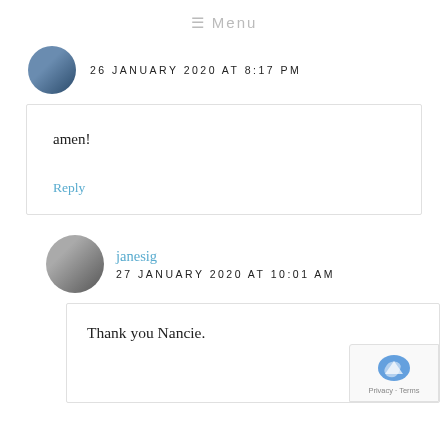≡ Menu
26 JANUARY 2020 AT 8:17 PM
amen!
Reply
janesig
27 JANUARY 2020 AT 10:01 AM
Thank you Nancie.